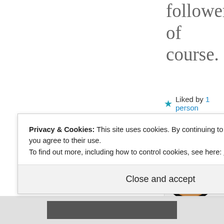followers, of course.
★ Liked by 1 person
[Figure (illustration): Card with illustrated cartoon dog wearing glasses, with partially visible text 'Jew You Pro "JYF']
Privacy & Cookies: This site uses cookies. By continuing to use this website, you agree to their use.
To find out more, including how to control cookies, see here: Cookie Policy
Close and accept